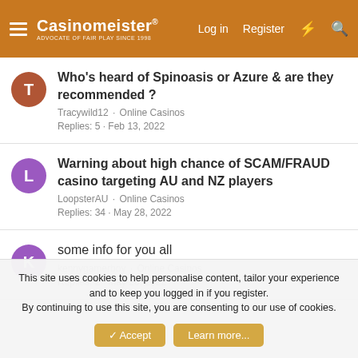Casinomeister® — Log in · Register
Who's heard of Spinoasis or Azure & are they recommended ?
Tracywild12 · Online Casinos
Replies: 5 · Feb 13, 2022
Warning about high chance of SCAM/FRAUD casino targeting AU and NZ players
LoopsterAU · Online Casinos
Replies: 34 · May 28, 2022
some info for you all
kennygamerboy · Online Casinos
Replies: 2 · May 20, 2022
This site uses cookies to help personalise content, tailor your experience and to keep you logged in if you register.
By continuing to use this site, you are consenting to our use of cookies.